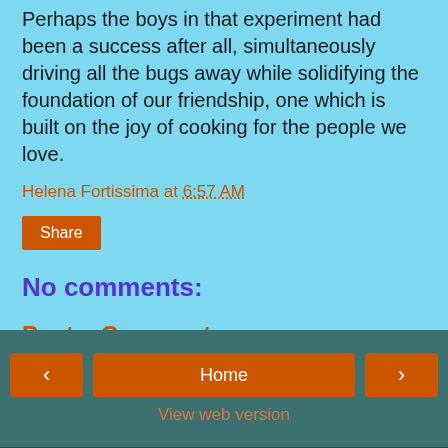Perhaps the boys in that experiment had been a success after all, simultaneously driving all the bugs away while solidifying the foundation of our friendship, one which is built on the joy of cooking for the people we love.
Helena Fortissima at 6:57 AM
Share
No comments:
Post a Comment
Home
View web version
About Me
Helena Fortissima
Artist, mother, wife, physician, anesthesiologist, champio...